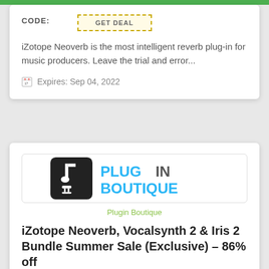[Figure (screenshot): GET DEAL button with dashed yellow border]
iZotope Neoverb is the most intelligent reverb plug-in for music producers. Leave the trial and error...
Expires: Sep 04, 2022
[Figure (logo): Plugin Boutique logo — black square with music note and plug icon, blue text PLUGIN BOUTIQUE]
Plugin Boutique
iZotope Neoverb, Vocalsynth 2 & Iris 2 Bundle Summer Sale (Exclusive) – 86% off
[Figure (screenshot): GET DEAL button with dashed yellow border (partially visible)]